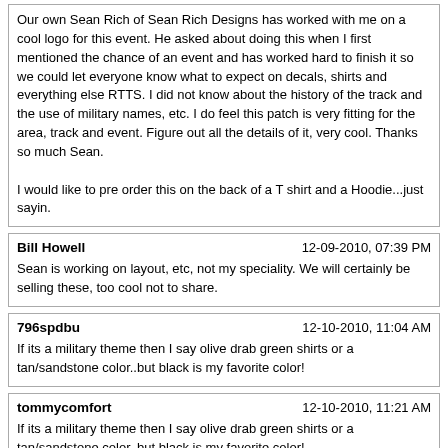Our own Sean Rich of Sean Rich Designs has worked with me on a cool logo for this event. He asked about doing this when I first mentioned the chance of an event and has worked hard to finish it so we could let everyone know what to expect on decals, shirts and everything else RTTS. I did not know about the history of the track and the use of military names, etc. I do feel this patch is very fitting for the area, track and event. Figure out all the details of it, very cool. Thanks so much Sean.

I would like to pre order this on the back of a T shirt and a Hoodie...just sayin.
Bill Howell	12-09-2010, 07:39 PM
Sean is working on layout, etc, not my speciality. We will certainly be selling these, too cool not to share.
796spdbu	12-10-2010, 11:04 AM
If its a military theme then I say olive drab green shirts or a tan/sandstone color..but black is my favorite color!
tommycomfort	12-10-2010, 11:21 AM
If its a military theme then I say olive drab green shirts or a tan/sandstone color..but black is my favorite color!

Now tan is a great idea, that way I can wear it under my ACU's and irritate the uniform nazi's when I take my top off!
Tom
nicks67camaro	12-10-2010, 01:22 PM
Our own Sean Rich of Sean Rich Designs has worked with me on a cool logo for this event. He asked about doing this when I first mentioned the chance of an event and has worked hard to finish it so we could let everyone know what